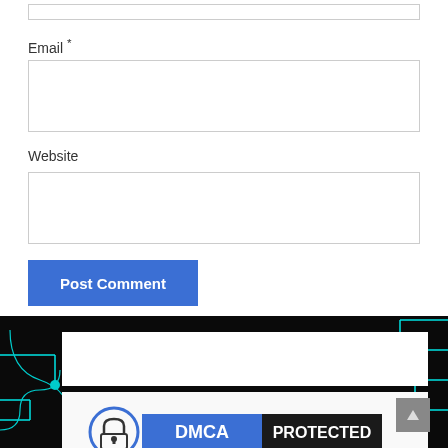Email *
Website
Post Comment
[Figure (screenshot): DMCA Protected badge with padlock icon, blue DMCA label and dark PROTECTED text on white background]
[Figure (illustration): Dark background with cyan circuit board pattern lines, dots and connectors]